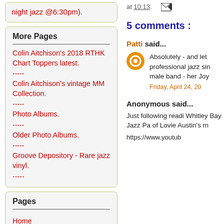night jazz @6:30pm).
More Pages
Colin Aitchison's 2018 RTHK Chart Toppers latest.
-----
Colin Aitchison's vintage MM Collection.
-----
Photo Albums.
-----
Older Photo Albums.
-----
Groove Depository - Rare jazz vinyl.
-----
Pages
Home
2015/16/17/18 CD Reviews.
at 10:13.
5 comments :
Patti said...
Absolutely - and let professional jazz sin male band - her Joy
Friday, April 24, 20
Anonymous said...
Just following readi Whitley Bay Jazz Pa of Lovie Austin's m
https://www.youtub